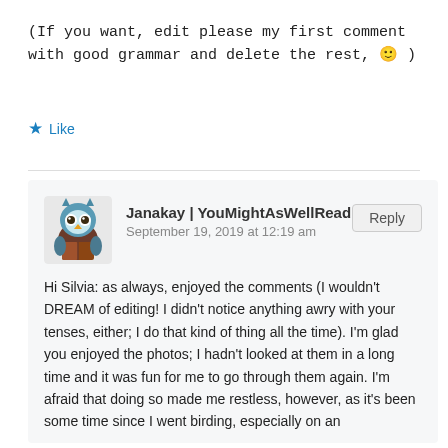(If you want, edit please my first comment with good grammar and delete the rest, 🙂 )
★ Like
Janakay | YouMightAsWellRead
September 19, 2019 at 12:19 am
Hi Silvia: as always, enjoyed the comments (I wouldn't DREAM of editing! I didn't notice anything awry with your tenses, either; I do that kind of thing all the time). I'm glad you enjoyed the photos; I hadn't looked at them in a long time and it was fun for me to go through them again. I'm afraid that doing so made me restless, however, as it's been some time since I went birding, especially on an